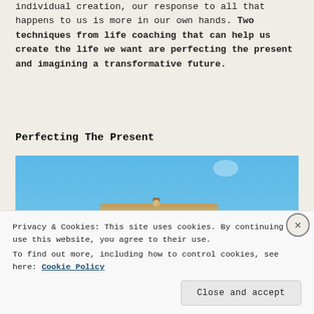individual creation, our response to all that happens to us is more in our own hands. Two techniques from life coaching that can help us create the life we want are perfecting the present and imagining a transformative future.
Perfecting The Present
[Figure (photo): A directional signpost against a clear blue sky. The top sign reads 'FUTURE' in capital letters with a decorative icon.]
Privacy & Cookies: This site uses cookies. By continuing to use this website, you agree to their use. To find out more, including how to control cookies, see here: Cookie Policy